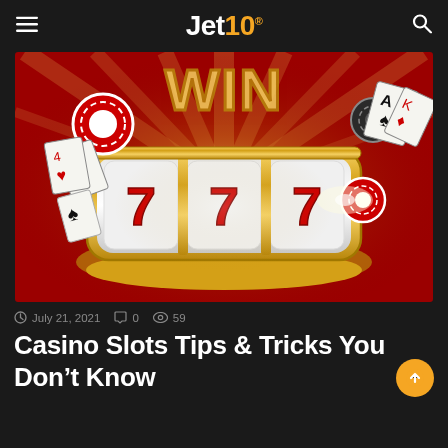Jet10®
[Figure (illustration): Casino slot machine showing 777 jackpot with gold reels, red and black poker chips, playing cards, on a red background with gold radiant light beams and WIN text at top]
July 21, 2021   0   59
Casino Slots Tips & Tricks You Don't Know